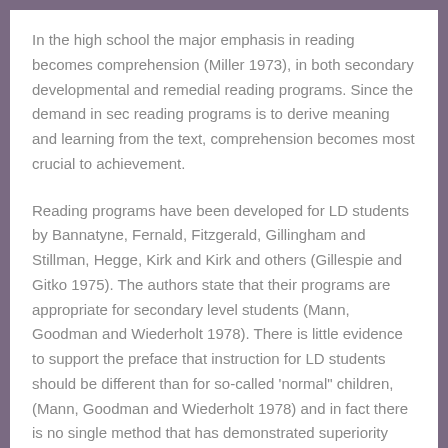In the high school the major emphasis in reading becomes comprehension (Miller 1973), in both secondary developmental and remedial reading programs. Since the demand in sec reading programs is to derive meaning and learning from the text, comprehension becomes most crucial to achievement.
Reading programs have been developed for LD students by Bannatyne, Fernald, Fitzgerald, Gillingham and Stillman, Hegge, Kirk and Kirk and others (Gillespie and Gitko 1975). The authors state that their programs are appropriate for secondary level students (Mann, Goodman and Wiederholt 1978). There is little evidence to support the preface that instruction for LD students should be different than for so-called 'normal" children, (Mann, Goodman and Wiederholt 1978) and in fact there is no single method that has demonstrated superiority over and other (Mann, Goodman and Wiederholt 1978) Therefore many educators feel that LD